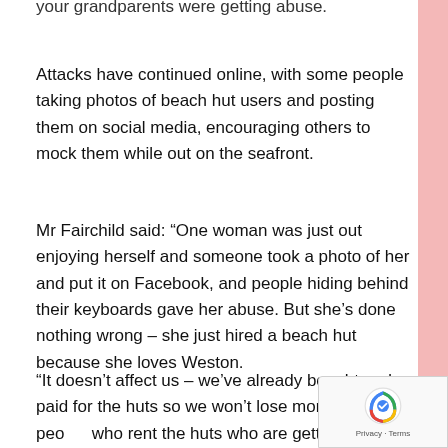your grandparents were getting abuse.
Attacks have continued online, with some people taking photos of beach hut users and posting them on social media, encouraging others to mock them while out on the seafront.
Mr Fairchild said: “One woman was just out enjoying herself and someone took a photo of her and put it on Facebook, and people hiding behind their keyboards gave her abuse. But she’s done nothing wrong – she just hired a beach hut because she loves Weston.
“It doesn’t affect us – we’ve already bought and paid for the huts so we won’t lose money, it’s the people who rent the huts who are getting abused and m...